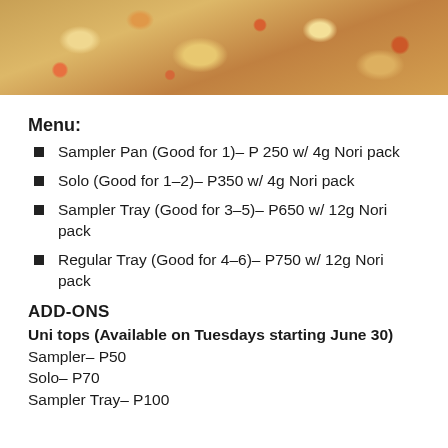[Figure (photo): Close-up photo of food — appears to be a Japanese dish with noodles or rice with toppings including orange/salmon-colored ingredients]
Menu:
Sampler Pan (Good for 1)– P 250 w/ 4g Nori pack
Solo (Good for 1–2)– P350 w/ 4g Nori pack
Sampler Tray (Good for 3–5)– P650 w/ 12g Nori pack
Regular Tray (Good for 4–6)– P750 w/ 12g Nori pack
ADD-ONS
Uni tops (Available on Tuesdays starting June 30)
Sampler– P50
Solo– P70
Sampler Tray– P100